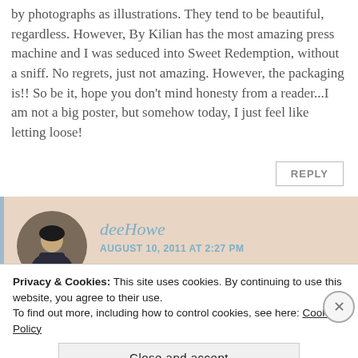by photographs as illustrations. They tend to be beautiful, regardless. However, By Kilian has the most amazing press machine and I was seduced into Sweet Redemption, without a sniff. No regrets, just not amazing. However, the packaging is!! So be it, hope you don't mind honesty from a reader...I am not a big poster, but somehow today, I just feel like letting loose!
REPLY
deeHowe
AUGUST 10, 2011 AT 2:27 PM
Privacy & Cookies: This site uses cookies. By continuing to use this website, you agree to their use.
To find out more, including how to control cookies, see here: Cookie Policy
Close and accept